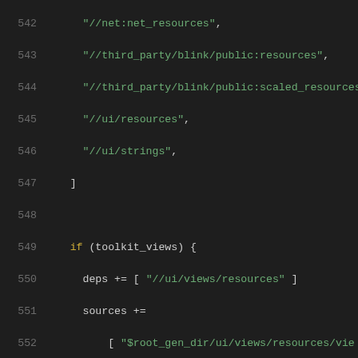Source code listing, lines 542–563, build configuration file (GN format)